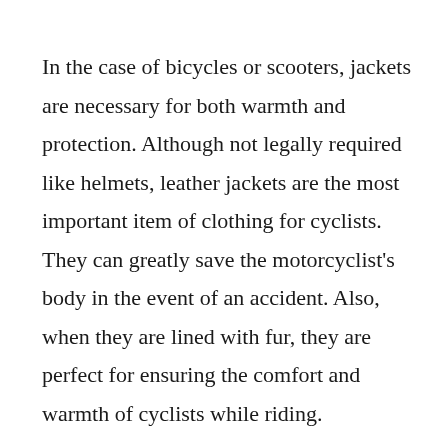In the case of bicycles or scooters, jackets are necessary for both warmth and protection. Although not legally required like helmets, leather jackets are the most important item of clothing for cyclists. They can greatly save the motorcyclist's body in the event of an accident. Also, when they are lined with fur, they are perfect for ensuring the comfort and warmth of cyclists while riding.